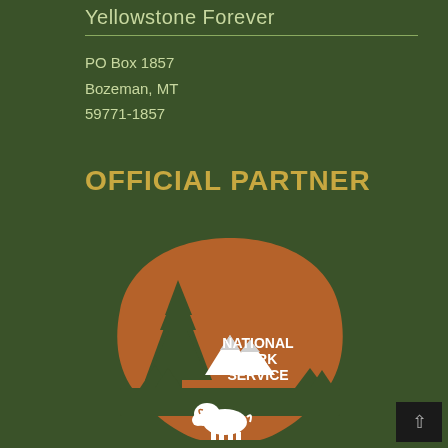Yellowstone Forever
PO Box 1857
Bozeman, MT
59771-1857
OFFICIAL PARTNER
[Figure (logo): National Park Service arrowhead logo — brown arrowhead shape containing a conifer tree silhouette on the left, a white bison at bottom center, white mountain peaks, and the text 'NATIONAL PARK SERVICE' in white on the right side of the arrowhead.]